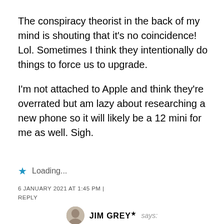The conspiracy theorist in the back of my mind is shouting that it's no coincidence! Lol. Sometimes I think they intentionally do things to force us to upgrade.

I'm not attached to Apple and think they're overrated but am lazy about researching a new phone so it will likely be a 12 mini for me as well. Sigh.
Loading...
6 JANUARY 2021 AT 1:45 PM | REPLY
JIM GREY says: